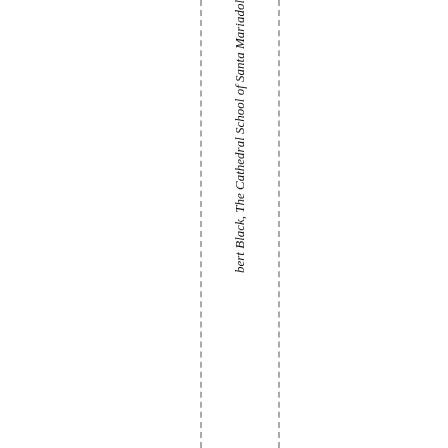bert Black, The Cathedral School of Santa Mariadol